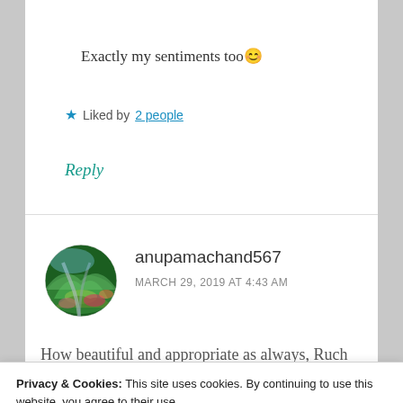Exactly my sentiments too 😊
★ Liked by 2 people
Reply
anupamachand567
MARCH 29, 2019 AT 4:43 AM
How beautiful and appropriate as always, Ruch
Privacy & Cookies: This site uses cookies. By continuing to use this website, you agree to their use.
To find out more, including how to control cookies, see here: Cookie Policy
Close and accept
at some stage – losing someone you care